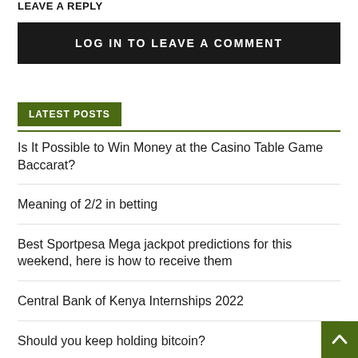LEAVE A REPLY
LOG IN TO LEAVE A COMMENT
LATEST POSTS
Is It Possible to Win Money at the Casino Table Game Baccarat?
Meaning of 2/2 in betting
Best Sportpesa Mega jackpot predictions for this weekend, here is how to receive them
Central Bank of Kenya Internships 2022
Should you keep holding bitcoin?